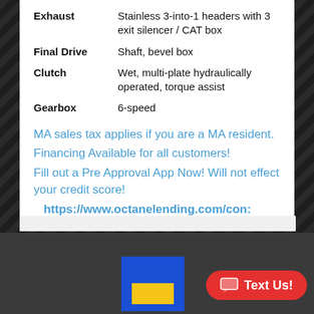| Exhaust | Stainless 3-into-1 headers with 3 exit silencer / CAT box |
| Final Drive | Shaft, bevel box |
| Clutch | Wet, multi-plate hydraulically operated, torque assist |
| Gearbox | 6-speed |
MA sales tax applies if you are a MA resident.
Financing Available for all customers!
Fill out a Pre Approval App Now! Will not effect your credit score!
https://www.octanelending.com/con:
[Figure (logo): Equal housing logo - blue square with yellow rectangle inside]